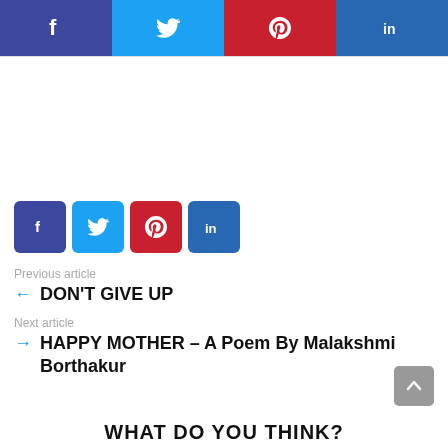[Figure (infographic): Top social sharing bar with Facebook (purple), Twitter (light blue), Pinterest (red), LinkedIn (dark blue) buttons spanning full width]
[Figure (infographic): Row of four smaller square social sharing icons: Facebook (purple), Twitter (light blue), Pinterest (red), LinkedIn (dark blue)]
Previous article
← DON'T GIVE UP
Next article
→ HAPPY MOTHER – A Poem By Malakshmi Borthakur
WHAT DO YOU THINK?